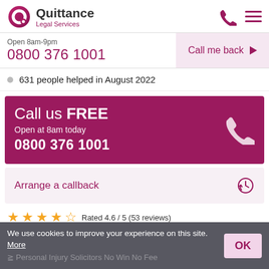[Figure (logo): Quittance Legal Services logo with pink circular Q icon]
Open 8am-9pm
0800 376 1001
Call me back
631 people helped in August 2022
Call us FREE
Open at 8am today
0800 376 1001
Arrange a callback
Rated 4.6 / 5 (53 reviews)
We use cookies to improve your experience on this site. More